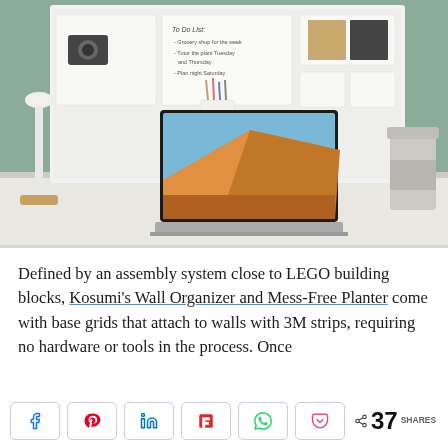[Figure (photo): A minimalist home office desk with a laptop showing a desert landscape wallpaper, a white desk lamp, a to-go coffee cup, and a LEGO-style modular wall organizer mounted on a sage green wall. The organizer contains a whiteboard with a to-do list, storage boxes, a camera, pencils, notebooks, and other desk items.]
Defined by an assembly system close to LEGO building blocks, Kosumi's Wall Organizer and Mess-Free Planter come with base grids that attach to walls with 3M strips, requiring no hardware or tools in the process. Once
[Figure (infographic): Social sharing buttons: Facebook (blue), Pinterest (red/pink), LinkedIn (blue), Flipboard (red), WhatsApp (green), Pocket (red/pink), and a share count showing 37 SHARES.]